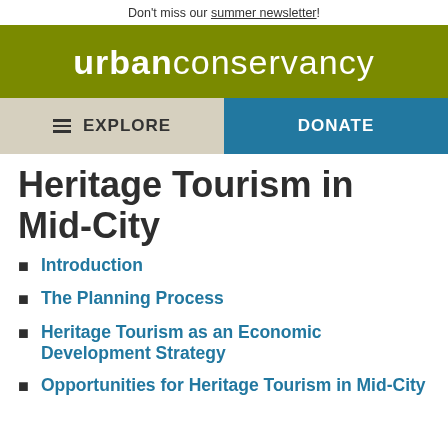Don't miss our summer newsletter!
[Figure (logo): Urban Conservancy logo — white text on olive/dark yellow background]
EXPLORE   DONATE
Heritage Tourism in Mid-City
Introduction
The Planning Process
Heritage Tourism as an Economic Development Strategy
Opportunities for Heritage Tourism in Mid-City